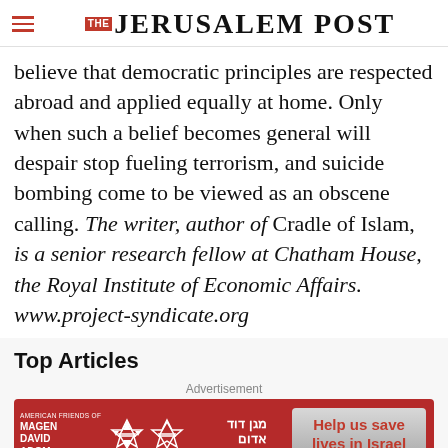THE JERUSALEM POST
believe that democratic principles are respected abroad and applied equally at home. Only when such a belief becomes general will despair stop fueling terrorism, and suicide bombing come to be viewed as an obscene calling. The writer, author of Cradle of Islam, is a senior research fellow at Chatham House, the Royal Institute of Economic Affairs. www.project-syndicate.org
Top Articles
Advertisement
[Figure (infographic): Magen David Adom advertisement banner with red background, Star of David graphic, Hebrew text, and a grey button saying 'Help us save lives in Israel']